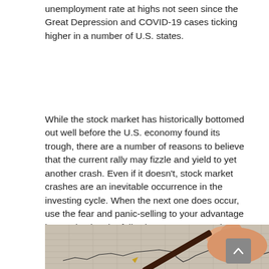unemployment rate at highs not seen since the Great Depression and COVID-19 cases ticking higher in a number of U.S. states.
While the stock market has historically bottomed out well before the U.S. economy found its trough, there are a number of reasons to believe that the current rally may fizzle and yield to yet another crash. Even if it doesn't, stock market crashes are an inevitable occurrence in the investing cycle. When the next one does occur, use the fear and panic-selling to your advantage by purchasing the following seven top stocks at a discount.
[Figure (photo): A hand holding a pen writing on a stock chart graph paper, showing candlestick chart patterns]